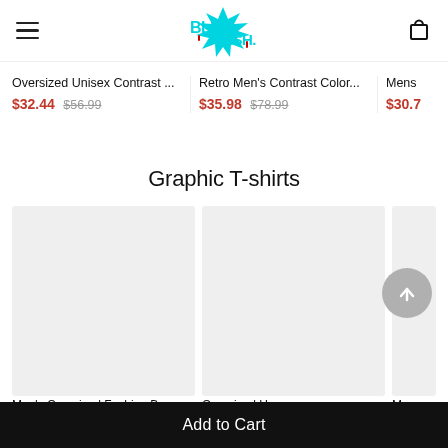Blue Esh. [logo] navigation header
Oversized Unisex Contrast … $32.44 $56.99
Retro Men's Contrast Color… $35.98 $78.99
Mens $30.7
Graphic T-shirts
[Figure (photo): Two large placeholder product image boxes (light grey) and one partially visible, for Graphic T-shirts section]
Men's Oversized Fashion Bas… Oversized Un... Men...
Add to Cart